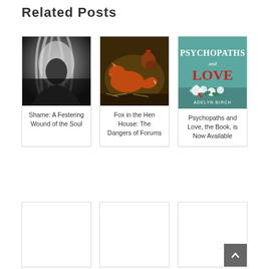Related Posts
[Figure (photo): Black and white photo of a woman with long light hair looking downward]
Shame: A Festering Wound of the Soul
[Figure (photo): Painting of a fox and chickens/rooster in a henhouse scene]
Fox in the Hen House: The Dangers of Forums
[Figure (illustration): Book cover for 'Psychopaths and Love' by Adelyn Birch with teal background, red and white text, and flowers]
Psychopaths and Love, the Book, is Now Available